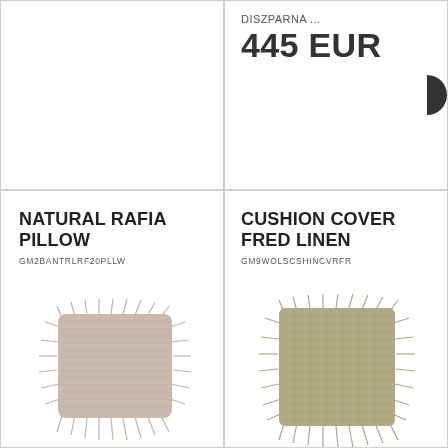DISZPARNA ...
445 EUR
NATURAL RAFIA PILLOW
GM2BANTRLRF20PLLW
[Figure (photo): Natural rafia pillow with fringe edges, beige/taupe color]
CUSHION COVER FRED LINEN
GM9WOLSCSHINCVRFR
[Figure (photo): Cushion cover Fred Linen with fringe edges, olive/khaki color]